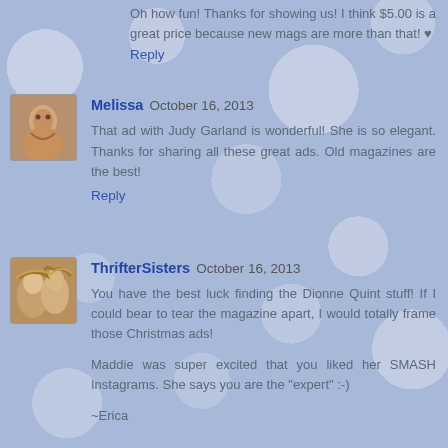Oh how fun! Thanks for showing us! I think $5.00 is a great price because new mags are more than that! ♥
Reply
Melissa  October 16, 2013
That ad with Judy Garland is wonderful! She is so elegant. Thanks for sharing all these great ads. Old magazines are the best!
Reply
ThrifterSisters  October 16, 2013
You have the best luck finding the Dionne Quint stuff! If I could bear to tear the magazine apart, I would totally frame those Christmas ads!
Maddie was super excited that you liked her SMASH Instagrams. She says you are the "expert" :-)
~Erica